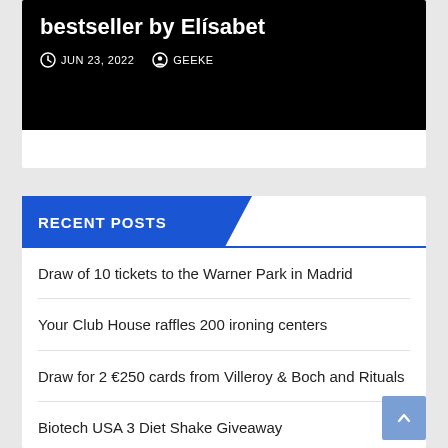bestseller by Elísabet
JUN 23, 2022   GEEKE
RECENT POSTS
Draw of 10 tickets to the Warner Park in Madrid
Your Club House raffles 200 ironing centers
Draw for 2 €250 cards from Villeroy & Boch and Rituals
Biotech USA 3 Diet Shake Giveaway